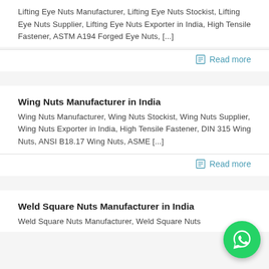Lifting Eye Nuts Manufacturer, Lifting Eye Nuts Stockist, Lifting Eye Nuts Supplier, Lifting Eye Nuts Exporter in India, High Tensile Fastener, ASTM A194 Forged Eye Nuts, [...]
Read more
Wing Nuts Manufacturer in India
Wing Nuts Manufacturer, Wing Nuts Stockist, Wing Nuts Supplier, Wing Nuts Exporter in India, High Tensile Fastener, DIN 315 Wing Nuts, ANSI B18.17 Wing Nuts, ASME [...]
Read more
Weld Square Nuts Manufacturer in India
Weld Square Nuts Manufacturer, Weld Square Nuts